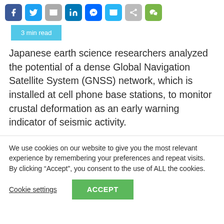[Figure (other): Row of social media sharing icon buttons: Facebook, Twitter, Email, LinkedIn, Messenger, WhatsApp, Share, WeChat]
3 min read
Japanese earth science researchers analyzed the potential of a dense Global Navigation Satellite System (GNSS) network, which is installed at cell phone base stations, to monitor crustal deformation as an early warning indicator of seismic activity.
We use cookies on our website to give you the most relevant experience by remembering your preferences and repeat visits. By clicking “Accept”, you consent to the use of ALL the cookies.
Cookie settings
ACCEPT